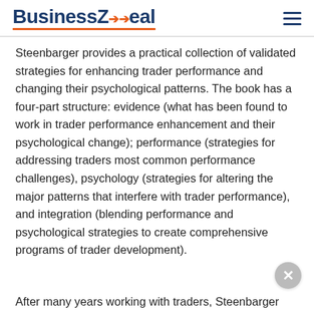BusinessZeal
Steenbarger provides a practical collection of validated strategies for enhancing trader performance and changing their psychological patterns. The book has a four-part structure: evidence (what has been found to work in trader performance enhancement and their psychological change); performance (strategies for addressing traders most common performance challenges), psychology (strategies for altering the major patterns that interfere with trader performance), and integration (blending performance and psychological strategies to create comprehensive programs of trader development).
After many years working with traders, Steenbarger